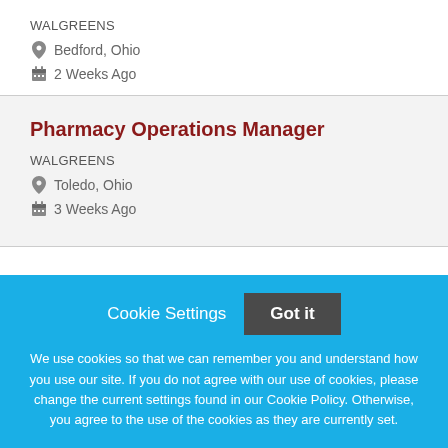WALGREENS
Bedford, Ohio
2 Weeks Ago
Pharmacy Operations Manager
WALGREENS
Toledo, Ohio
3 Weeks Ago
Cookie Settings
Got it
We use cookies so that we can remember you and understand how you use our site. If you do not agree with our use of cookies, please change the current settings found in our Cookie Policy. Otherwise, you agree to the use of the cookies as they are currently set.